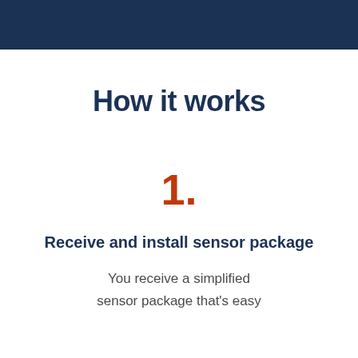How it works
1.
Receive and install sensor package
You receive a simplified sensor package that's easy